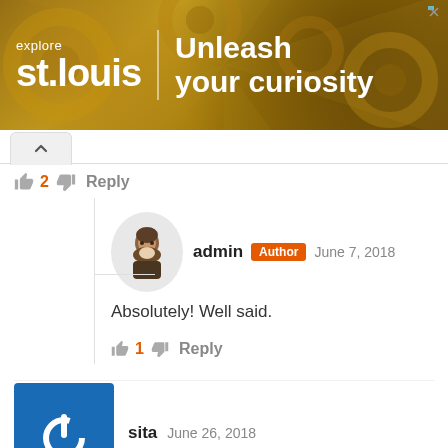[Figure (screenshot): Advertisement banner for 'explore st.louis | Unleash your curiosity' with golden gear background]
2  Reply
admin  Author  June 7, 2018
Absolutely! Well said.
1  Reply
sita  June 26, 2018
superb review.. appreciation for the reviewer!!!